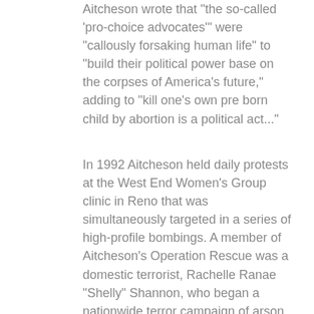Aitcheson wrote that "the so-called 'pro-choice advocates'" were "callously forsaking human life" to "build their political power base on the corpses of America's future," adding to "kill one's own pre born child by abortion is a political act..."
In 1992 Aitcheson held daily protests at the West End Women's Group clinic in Reno that was simultaneously targeted in a series of high-profile bombings. A member of Aitcheson's Operation Rescue was a domestic terrorist, Rachelle Ranae "Shelly" Shannon, who began a nationwide terror campaign of arson and bombings and shootings at abortion clinics with several attacks at the Reno West